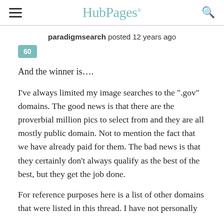HubPages
paradigmsearch posted 12 years ago
60
And the winner is….
I've always limited my image searches to the ".gov" domains. The good news is that there are the proverbial million pics to select from and they are all mostly public domain. Not to mention the fact that we have already paid for them. The bad news is that they certainly don't always qualify as the best of the best, but they get the job done.
For reference purposes here is a list of other domains that were listed in this thread. I have not personally